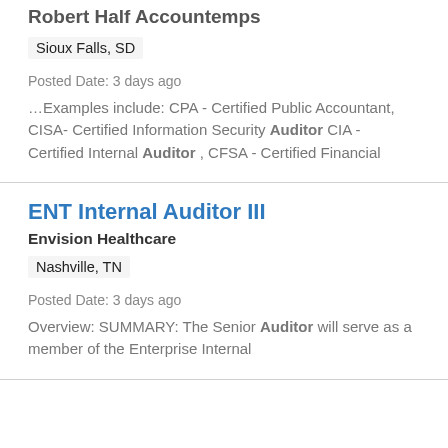Robert Half Accountemps
Sioux Falls, SD
Posted Date: 3 days ago
…Examples include: CPA - Certified Public Accountant, CISA- Certified Information Security Auditor CIA - Certified Internal Auditor , CFSA - Certified Financial
ENT Internal Auditor III
Envision Healthcare
Nashville, TN
Posted Date: 3 days ago
Overview: SUMMARY: The Senior Auditor will serve as a member of the Enterprise Internal